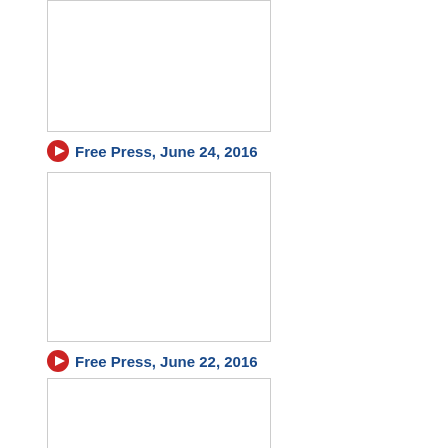[Figure (screenshot): Thumbnail image placeholder with border, white interior]
Free Press, June 24, 2016
[Figure (screenshot): Thumbnail image placeholder with border, white interior]
Free Press, June 22, 2016
[Figure (screenshot): Thumbnail image placeholder with border, white interior, partially visible]